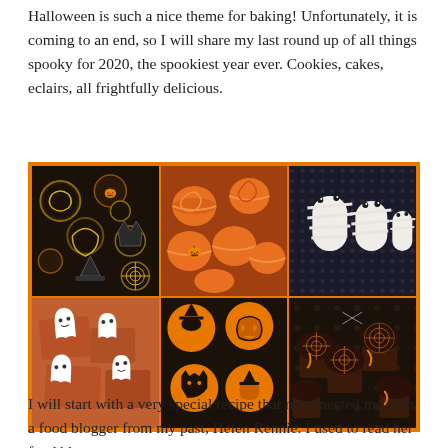Halloween is such a nice theme for baking! Unfortunately, it is coming to an end, so I will share my last round up of all things spooky for 2020, the spookiest year ever. Cookies, cakes, eclairs, all frightfully delicious.
[Figure (photo): A 3x2 grid of Halloween-themed baked goods photos with orange border: top row shows decorated Halloween cookies, orange macarons, and white chocolate mummy eclairs; bottom row shows ghost brownies, orange Halloween sugar cookies with pumpkin/cat/witch designs, and chocolate spider web cupcakes.]
I will start with a very special recipe that reconnected me with a food blogger from my past, Helen Rennie. I used to read her food blog...